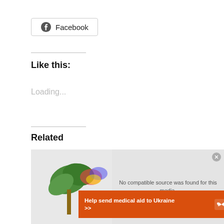[Figure (screenshot): Facebook share button with Facebook logo icon, rounded border]
Like this:
Loading...
Related
[Figure (screenshot): Media player overlay showing 'No compatible source was found for this media.' message with close button]
[Figure (infographic): Orange advertisement banner: 'Help send medical aid to Ukraine >>' with Direct Relief logo]